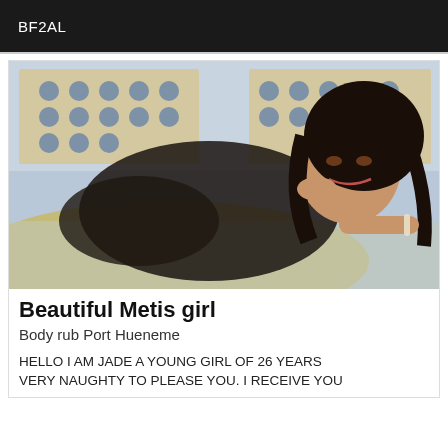BF2AL
[Figure (photo): Young woman with long dark hair lying on a bed, wearing a black lace bodysuit, posing with her chin resting on her hand, smiling at the camera. Background shows a decorative headboard with blue and white pattern.]
Beautiful Metis girl
Body rub Port Hueneme
HELLO I AM JADE A YOUNG GIRL OF 26 YEARS VERY NAUGHTY TO PLEASE YOU. I RECEIVE YOU